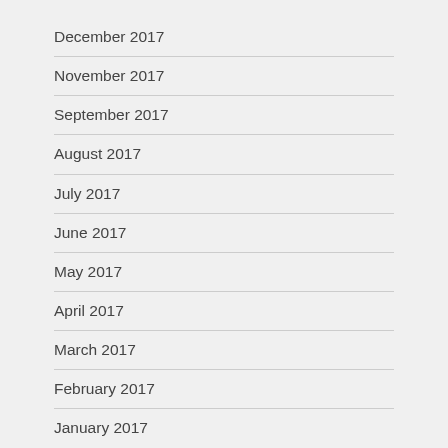December 2017
November 2017
September 2017
August 2017
July 2017
June 2017
May 2017
April 2017
March 2017
February 2017
January 2017
November 2016